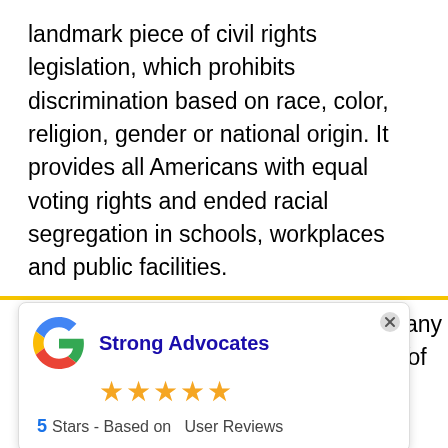landmark piece of civil rights legislation, which prohibits discrimination based on race, color, religion, gender or national origin. It provides all Americans with equal voting rights and ended racial segregation in schools, workplaces and public facilities.
Under this law, employers must not hire or fire any individual or make any decisions relating to his or employment based on race, color, religion sex or national origin. Employers cannot limit, segregate
[Figure (other): Google review widget showing 'Strong Advocates' with 5 stars rating and text '5 Stars - Based on User Reviews', with a Google G logo]
including employers, employment agencies,